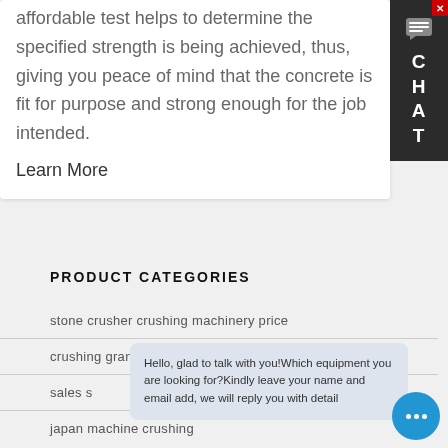affordable test helps to determine the specified strength is being achieved, thus, giving you peace of mind that the concrete is fit for purpose and strong enough for the job intended.
Learn More
PRODUCT CATEGORIES
stone crusher crushing machinery price
crushing granite ballast railway
sales s...
japan machine crushing
Hello, glad to talk with you!Which equipment you are looking for?Kindly leave your name and email add, we will reply you with detail